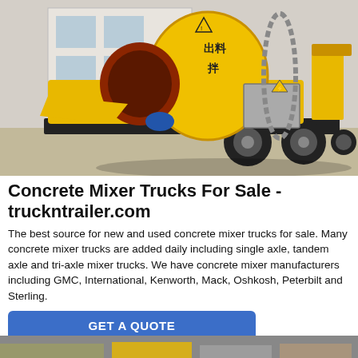[Figure (photo): Yellow concrete mixer truck / pump machine on a trailer, photographed outdoors at a facility. Chinese characters on the drum. Industrial yellow machine with black frame and large tires.]
Concrete Mixer Trucks For Sale - truckntrailer.com
The best source for new and used concrete mixer trucks for sale. Many concrete mixer trucks are added daily including single axle, tandem axle and tri-axle mixer trucks. We have concrete mixer manufacturers including GMC, International, Kenworth, Mack, Oshkosh, Peterbilt and Sterling.
GET A QUOTE
Send Message
Inquiry Online